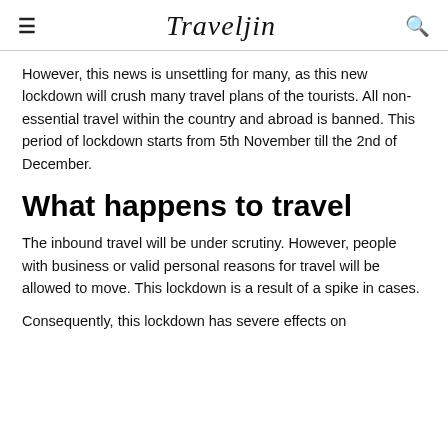Traveljin
However, this news is unsettling for many, as this new lockdown will crush many travel plans of the tourists. All non-essential travel within the country and abroad is banned. This period of lockdown starts from 5th November till the 2nd of December.
What happens to travel
The inbound travel will be under scrutiny. However, people with business or valid personal reasons for travel will be allowed to move. This lockdown is a result of a spike in cases.
Consequently, this lockdown has severe effects on